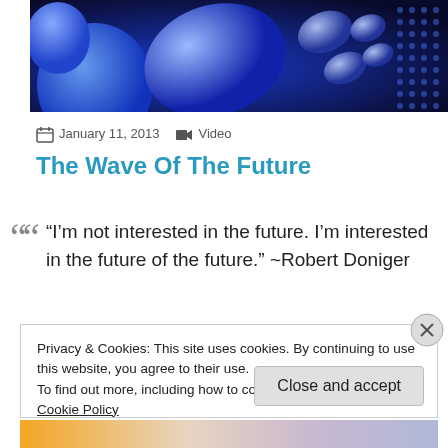[Figure (photo): Abstract blue spheres and ellipses with reflections on a dark blue background]
January 11, 2013   Video
The Wave Of The Future
“I’m not interested in the future. I’m interested in the future of the future.” ~Robert Doniger
Privacy & Cookies: This site uses cookies. By continuing to use this website, you agree to their use.
To find out more, including how to control cookies, see here: Cookie Policy
Close and accept